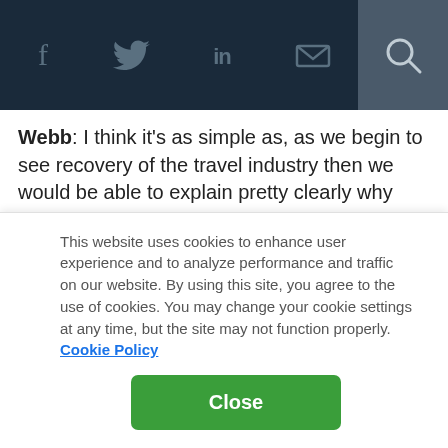Navigation bar with social icons: Facebook, Twitter, LinkedIn, Email, and Search
Webb: I think it's as simple as, as we begin to see recovery of the travel industry then we would be able to explain pretty clearly why Travelport as a public company would be very attractive to investors. And at that point of course we'd look at options.
But at this point, the company in total is fundamentally different than when Siris and Elliot took us private. Almost
This website uses cookies to enhance user experience and to analyze performance and traffic on our website. By using this site, you agree to the use of cookies. You may change your cookie settings at any time, but the site may not function properly. Cookie Policy
Close